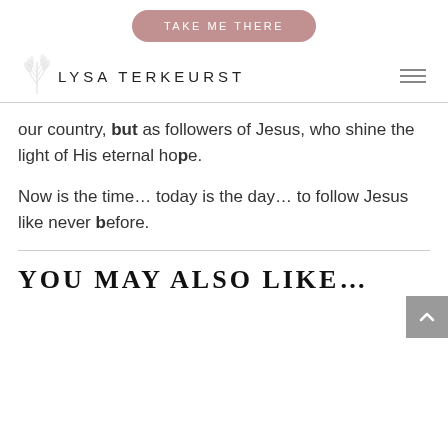[Figure (other): Button with rounded corners and muted rose/mauve background reading TAKE ME THERE in white uppercase letters]
[Figure (logo): Lysa TerKeurst logo with stylized leaf/wheat illustration and uppercase spaced text LYSA TERKEURST, plus hamburger menu icon on right]
our country, but as followers of Jesus, who shine the light of His eternal hope.
Now is the time… today is the day… to follow Jesus like never before.
YOU MAY ALSO LIKE…